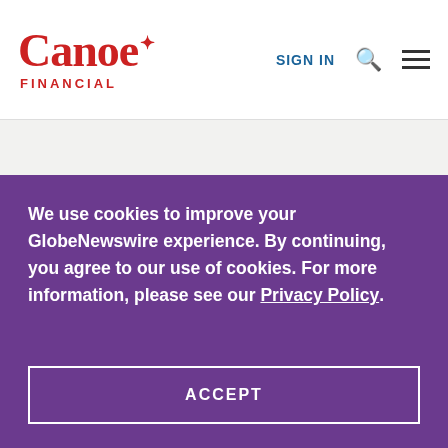Canoe FINANCIAL | SIGN IN
We use cookies to improve your GlobeNewswire experience. By continuing, you agree to our use of cookies. For more information, please see our Privacy Policy.
ACCEPT